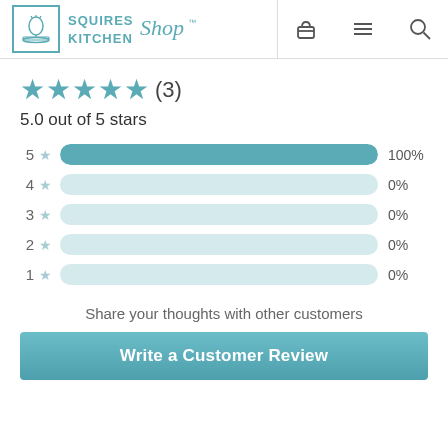Squires Kitchen Shop
[Figure (other): Star rating summary: 5 out of 5 stars (3 reviews). Bar chart showing 5 stars = 100%, 4 stars = 0%, 3 stars = 0%, 2 stars = 0%, 1 star = 0%.]
5.0 out of 5 stars
Share your thoughts with other customers
Write a Customer Review